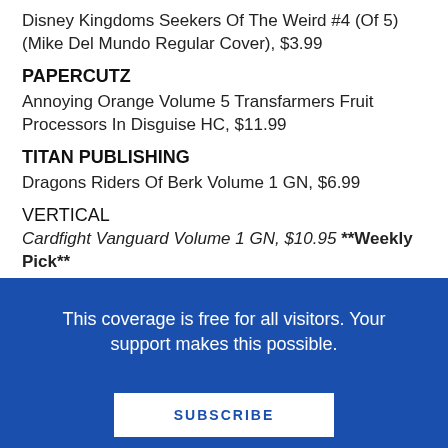Disney Kingdoms Seekers Of The Weird #4 (Of 5) (Mike Del Mundo Regular Cover), $3.99
PAPERCUTZ
Annoying Orange Volume 5 Transfarmers Fruit Processors In Disguise HC, $11.99
TITAN PUBLISHING
Dragons Riders Of Berk Volume 1 GN, $6.99
VERTICAL
Cardfight Vanguard Volume 1 GN, $10.95 **Weekly Pick**
Cardfight Vanguard Volume 1 GN (Special Edition Boxed Set), $19.95
The Picks:
This coverage is free for all visitors. Your support makes this possible.
SUBSCRIBE